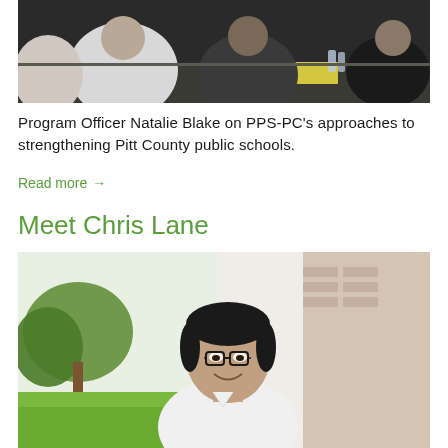[Figure (photo): Group of people seated around a table in a meeting or workshop setting, viewed from behind/side, with yellow papers and water bottles on the table.]
Program Officer Natalie Blake on PPS-PC's approaches to strengthening Pitt County public schools.
Read more →
Meet Chris Lane
[Figure (photo): Young man with glasses, smiling, wearing a white shirt, photographed outdoors in front of a brick building with green lawn and trees in background.]